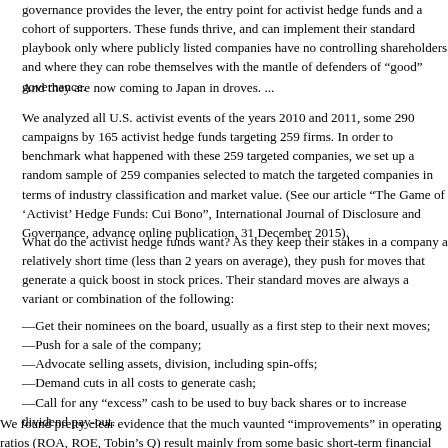governance provides the lever, the entry point for activist hedge funds and cohort of supporters. These funds thrive, and can implement their standard only where publicly listed companies have no controlling shareholders and they can robe themselves with the mantle of defenders of “good” governance
And they are now coming to Japan in droves. ...
We analyzed all U.S. activist events of the years 2010 and 2011, some 290 campaigns by 165 activist hedge funds targeting 259 firms. In order to benchmark what happened with these 259 targeted companies, we set up a random sample of 259 companies selected to match the targeted companies in terms of industry classification and market value. (See our article “The Game of ‘Activist’ Hedge Funds: Cui Bono”, International Journal of Disclosure and Governance, advance online publication, 31 December 2015).
What do the activist hedge funds want? As they keep their stakes in a company a relatively short time (less than 2 years on average), they push for moves that generate a quick boost in stock prices. Their standard moves are always a variant or combination of the following:
—Get their nominees on the board, usually as a first step to their next moves;
—Push for a sale of the company;
—Advocate selling assets, division, including spin-offs;
—Demand cuts in all costs to generate cash;
—Call for any “excess” cash to be used to buy back shares or to increase dividend pay-out.
We found pretty clear evidence that the much vaunted “improvements” in operating ratios (ROA, ROE, Tobin’s Q) result mainly from some basic short-term financial maneuvers (selling assets or divisions, cutting capital expenditures, buying back shares, etc).